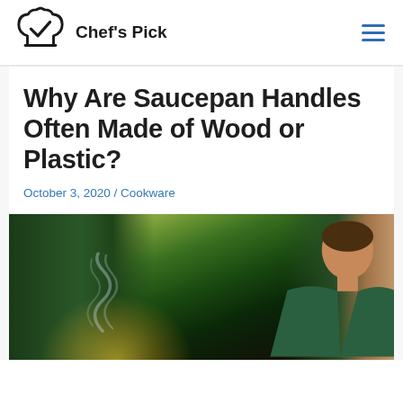Chef's Pick
Why Are Saucepan Handles Often Made of Wood or Plastic?
October 3, 2020 / Cookware
[Figure (photo): A person cooking in a kitchen with steam rising from pots on a stove, warm yellow light visible, chef wearing green top, shot from above/side angle]